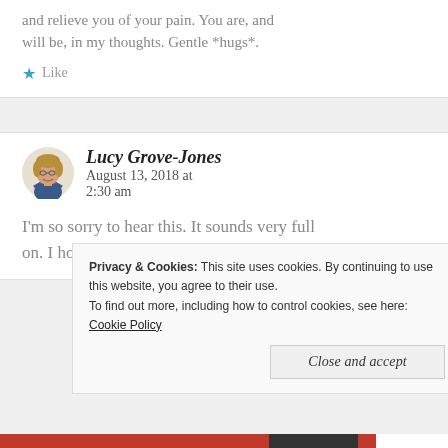and relieve you of your pain. You are, and will be, in my thoughts. Gentle *hugs*.
Like
Lucy Grove-Jones  August 13, 2018 at 2:30 am
I'm so sorry to hear this. It sounds very full on. I hope the surger(ies?) go well.
Privacy & Cookies: This site uses cookies. By continuing to use this website, you agree to their use.
To find out more, including how to control cookies, see here:
Cookie Policy
Close and accept